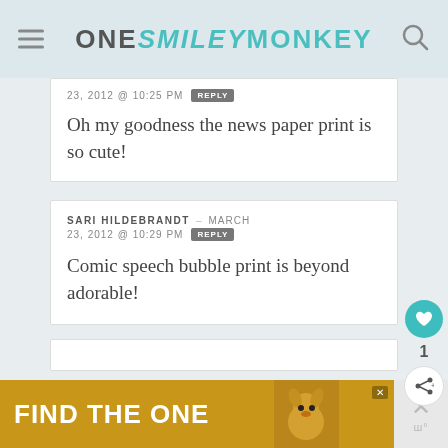ONE SMILEY MONKEY
23, 2012 @ 10:25 PM   REPLY
Oh my goodness the news paper print is so cute!
SARI HILDEBRANDT - MARCH 23, 2012 @ 10:29 PM   REPLY
Comic speech bubble print is beyond adorable!
[Figure (screenshot): Advertisement banner: FIND THE ONE with a dog image]